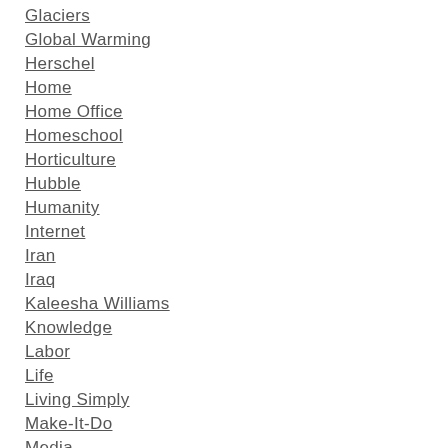Glaciers
Global Warming
Herschel
Home
Home Office
Homeschool
Horticulture
Hubble
Humanity
Internet
Iran
Iraq
Kaleesha Williams
Knowledge
Labor
Life
Living Simply
Make-It-Do
Media